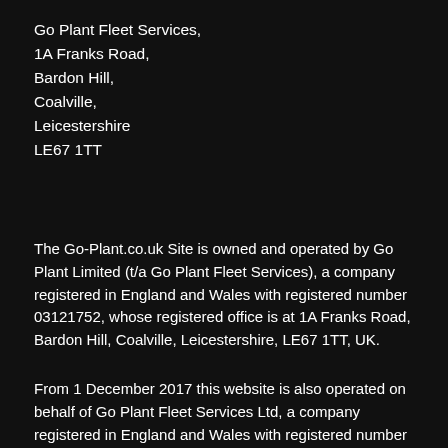Go Plant Fleet Services,
1A Franks Road,
Bardon Hill,
Coalville,
Leicestershire
LE67 1TT
The Go-Plant.co.uk Site is owned and operated by Go Plant Limited (t/a Go Plant Fleet Services), a company registered in England and Wales with registered number 03121752, whose registered office is at 1A Franks Road, Bardon Hill, Coalville, Leicestershire, LE67 1TT, UK.
From 1 December 2017 this website is also operated on behalf of Go Plant Fleet Services Ltd, a company registered in England and Wales with registered number 03337954, whose registered office is at 1A Franks Road, Bardon Hill, Coalville, Leicestershire, LE67...